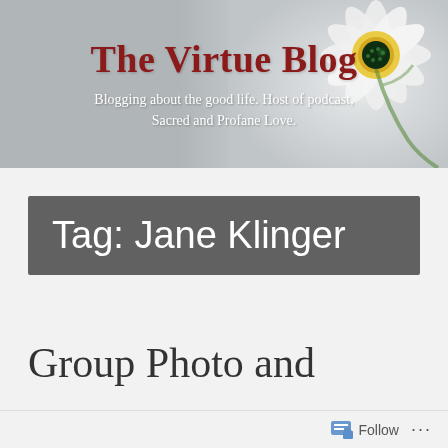[Figure (illustration): Blog header banner with daisy flower on right side, grey gradient background]
The Virtue Blog
Blogging about the good life. Host of podcast, Sacred and Profane Love.
Tag: Jane Klinger
Group Photo and
Follow ...